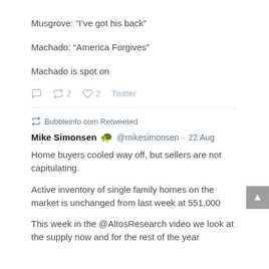Musgrove: “I’ve got his back”
Machado: “America Forgives”
Machado is spot on
2  2  Twitter
Bubbleinfo.com Retweeted
Mike Simonsen @mikesimonsen · 22 Aug
Home buyers cooled way off, but sellers are not capitulating.
Active inventory of single family homes on the market is unchanged from last week at 551,000
This week in the @AltosResearch video we look at the supply now and for the rest of the year